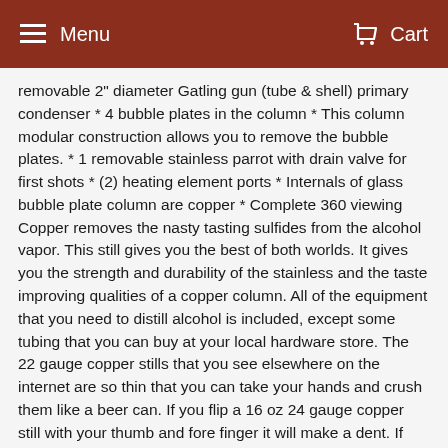Menu   Cart
removable 2" diameter Gatling gun (tube & shell) primary condenser * 4 bubble plates in the column * This column modular construction allows you to remove the bubble plates. * 1 removable stainless parrot with drain valve for first shots * (2) heating element ports * Internals of glass bubble plate column are copper * Complete 360 viewing Copper removes the nasty tasting sulfides from the alcohol vapor. This still gives you the best of both worlds. It gives you the strength and durability of the stainless and the taste improving qualities of a copper column. All of the equipment that you need to distill alcohol is included, except some tubing that you can buy at your local hardware store. The 22 gauge copper stills that you see elsewhere on the internet are so thin that you can take your hands and crush them like a beer can. If you flip a 16 oz 24 gauge copper still with your thumb and fore finger it will make a dent. If you punch this stainless milk can boiler with your fist, you might break your fist but there won't be a dent. This item comes with a 1 year warranty which covers manufacturing defects and leaks. Built to last a Lifetime! Hand it down to future generations! Disclaimer: These